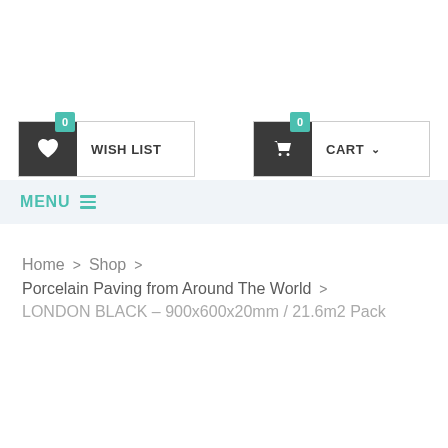[Figure (screenshot): E-commerce navigation bar with Wish List button (badge: 0) and Cart button (badge: 0) with dropdown indicator]
MENU
Home > Shop > Porcelain Paving from Around The World > LONDON BLACK – 900x600x20mm / 21.6m2 Pack